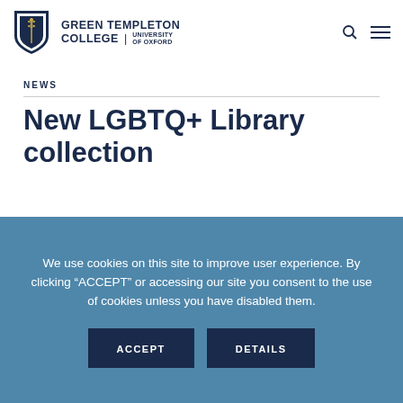Green Templeton College | University of Oxford
NEWS
New LGBTQ+ Library collection
We use cookies on this site to improve user experience. By clicking “ACCEPT” or accessing our site you consent to the use of cookies unless you have disabled them.